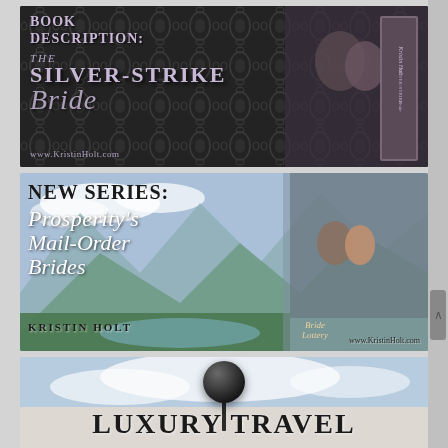[Figure (illustration): Book description banner for 'The Silver-Strike Bride' by Kristin Holt. Dark damask background with stylized text and book cover image showing a couple embracing. URL: www.KristinHolt.com]
[Figure (illustration): New Series banner for 'Prosperity's Mail-Order Brides' by Kristin Holt. Mountain landscape background with white italic script text and book cover image. URL: www.KristinHolt.com]
[Figure (illustration): Partial banner showing sky background with a dark sphere/security camera and bold text 'Luxury Travel' at the bottom. Partially cut off.]